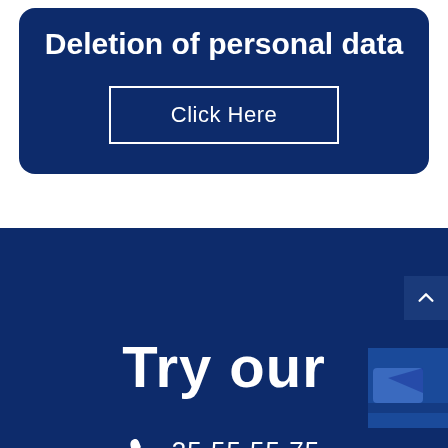Deletion of personal data
Click Here
[Figure (screenshot): Dark navy blue footer section with 'Try our' large white text partially visible, a phone icon and number '35 55 55 75', a scroll-to-top button in upper right, and a partially visible logo/image in lower right corner]